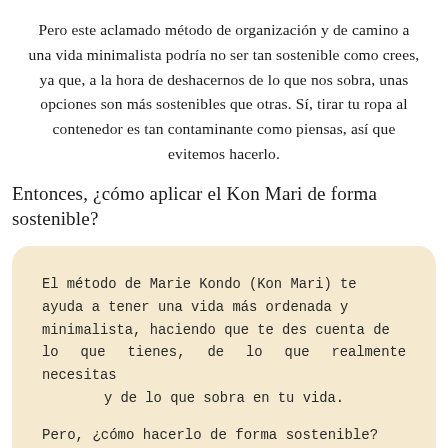Pero este aclamado método de organización y de camino a una vida minimalista podría no ser tan sostenible como crees, ya que, a la hora de deshacernos de lo que nos sobra, unas opciones son más sostenibles que otras. Sí, tirar tu ropa al contenedor es tan contaminante como piensas, así que evitemos hacerlo.
Entonces, ¿cómo aplicar el Kon Mari de forma sostenible?
El método de Marie Kondo (Kon Mari) te ayuda a tener una vida más ordenada y minimalista, haciendo que te des cuenta de lo que tienes, de lo que realmente necesitas y de lo que sobra en tu vida.

Pero, ¿cómo hacerlo de forma sostenible?
[Figure (photo): Two side-by-side photos: left shows a closet/wardrobe scene with clothes and shelves, right shows hanging white clothes on a rack with a person visible.]